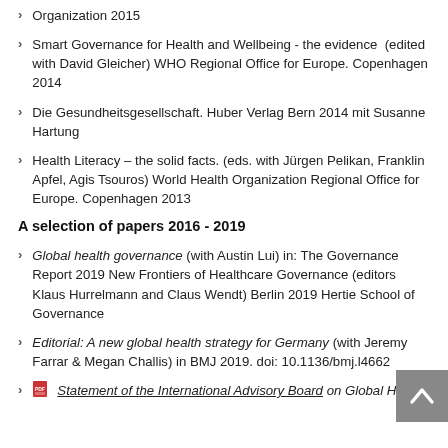Organization 2015
Smart Governance for Health and Wellbeing - the evidence (edited with David Gleicher) WHO Regional Office for Europe. Copenhagen 2014
Die Gesundheitsgesellschaft. Huber Verlag Bern 2014 mit Susanne Hartung
Health Literacy – the solid facts. (eds. with Jürgen Pelikan, Franklin Apfel, Agis Tsouros) World Health Organization Regional Office for Europe. Copenhagen 2013
A selection of papers 2016 - 2019
Global health governance (with Austin Lui) in: The Governance Report 2019 New Frontiers of Healthcare Governance (editors Klaus Hurrelmann and Claus Wendt) Berlin 2019 Hertie School of Governance
Editorial: A new global health strategy for Germany (with Jeremy Farrar & Megan Challis) in BMJ 2019. doi: 10.1136/bmj.l4662
Statement of the International Advisory Board on Global Health